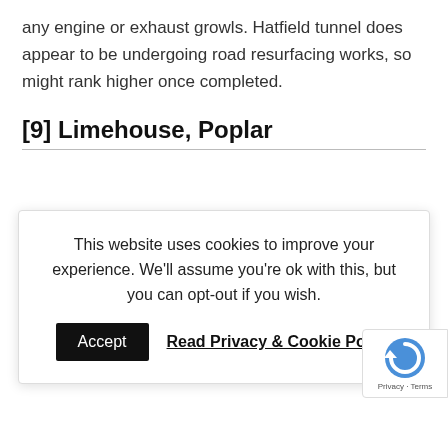any engine or exhaust growls. Hatfield tunnel does appear to be undergoing road resurfacing works, so might rank higher once completed.
[9] Limehouse, Poplar
[Figure (other): Cookie consent banner overlay with Accept button and Read Privacy & Cookie Policy link]
... is typically high at all times ... or at least at night. With a side tunnel merging, this can cause more congestion with drivers switching lanes.
[10] Tyne, Durham, Northumberland
A one-way system was the biggest highlight of the